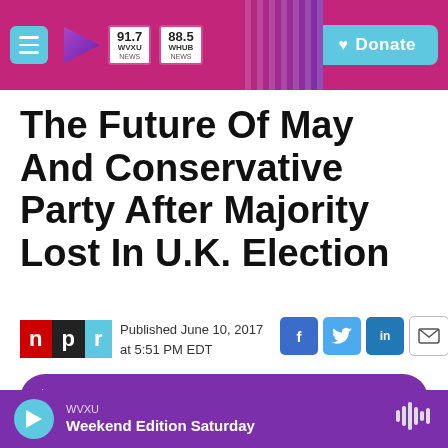[Figure (screenshot): WVXU NPR radio station website header with hamburger menu, play button, radio frequencies 91.7 WVXU NEWS and 88.5 WHUB NEWS, diagonal stripe decoration, and cyan Donate button on pink/magenta background]
The Future Of May And Conservative Party After Majority Lost In U.K. Election
[Figure (logo): NPR logo with n in red, p in black, r in cyan/blue]
Published June 10, 2017 at 5:51 PM EDT
[Figure (infographic): Social sharing icons: Facebook (blue), Twitter (light blue), LinkedIn (dark blue), email (white with border)]
[Figure (infographic): Purple rounded LISTEN • 4:17 button with play triangle]
[Figure (infographic): Purple bottom player bar with cyan play button, WVXU label, Weekend Edition Saturday show title, and audio waveform icon]